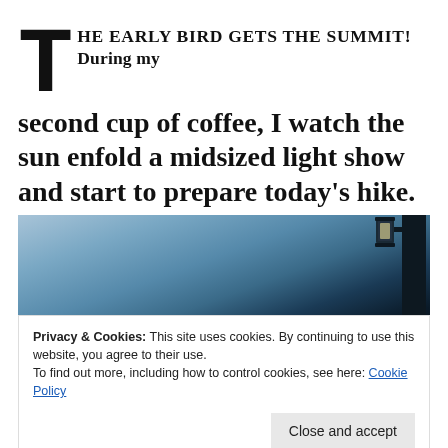THE EARLY BIRD GETS THE SUMMIT! During my second cup of coffee, I watch the sun enfold a midsized light show and start to prepare today's hike.
[Figure (photo): A dark silhouette of a building with a lantern against a dramatic blue and grey dawn sky with clouds]
Privacy & Cookies: This site uses cookies. By continuing to use this website, you agree to their use.
To find out more, including how to control cookies, see here: Cookie Policy
Close and accept